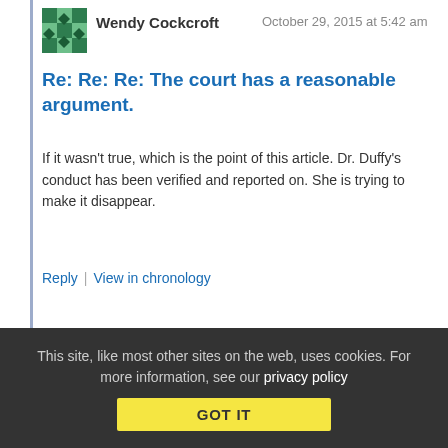Wendy Cockcroft  October 29, 2015 at 5:42 am
Re: Re: Re: The court has a reasonable argument.
If it wasn't true, which is the point of this article. Dr. Duffy's conduct has been verified and reported on. She is trying to make it disappear.
Reply | View in chronology
[Figure (infographic): Row of 5 reaction/action icons: lightbulb (insightful), laughing face (funny), speech bubble with open-quotes (quote), speech bubble with close-quotes (quote alternate), flag (report)]
This site, like most other sites on the web, uses cookies. For more information, see our privacy policy  GOT IT